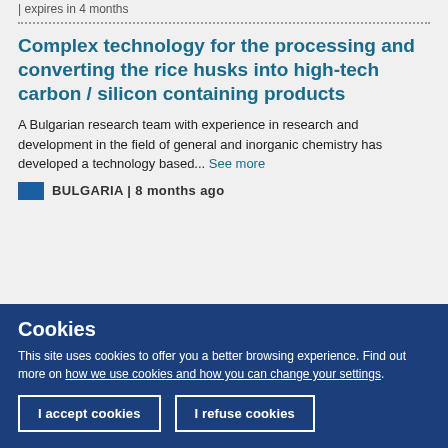| expires in 4 months
Complex technology for the processing and converting the rice husks into high-tech carbon / silicon containing products
A Bulgarian research team with experience in research and development in the field of general and inorganic chemistry has developed a technology based... See more
BULGARIA | 8 months ago
Cookies
This site uses cookies to offer you a better browsing experience. Find out more on how we use cookies and how you can change your settings.
I accept cookies
I refuse cookies